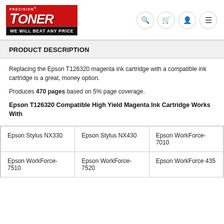[Figure (logo): Precision Toner logo with red background, italic TONER text, and black banner reading WE WILL BEAT ANY PRICE]
PRODUCT DESCRIPTION
Replacing the Epson T126320 magenta ink cartridge with a compatible ink cartridge is a great, money option.
Produces 470 pages based on 5% page coverage.
Epson T126320 Compatible High Yield Magenta Ink Cartridge Works With
| Epson Stylus NX330 | Epson Stylus NX430 | Epson WorkForce-7010 |
| Epson WorkForce-7510 | Epson WorkForce-7520 | Epson WorkForce 435 |